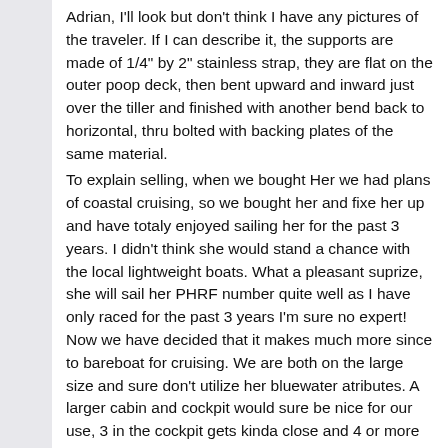Adrian, I'll look but don't think I have any pictures of the traveler. If I can describe it, the supports are made of 1/4" by 2" stainless strap, they are flat on the outer poop deck, then bent upward and inward just over the tiller and finished with another bend back to horizontal, thru bolted with backing plates of the same material.
To explain selling, when we bought Her we had plans of coastal cruising, so we bought her and fixe her up and have totaly enjoyed sailing her for the past 3 years. I didn't think she would stand a chance with the local lightweight boats. What a pleasant suprize, she will sail her PHRF number quite well as I have only raced for the past 3 years I'm sure no expert! Now we have decided that it makes much more since to bareboat for cruising. We are both on the large size and sure don't utilize her bluewater atributes. A larger cabin and cockpit would sure be nice for our use, 3 in the cockpit gets kinda close and 4 or more you better